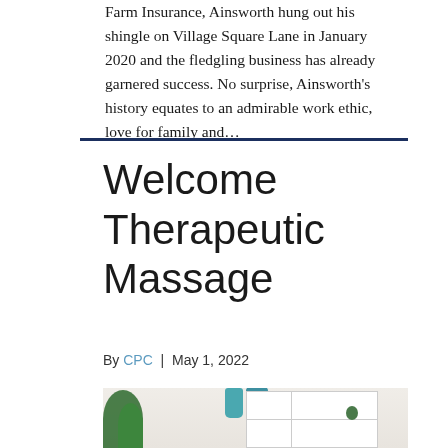Farm Insurance, Ainsworth hung out his shingle on Village Square Lane in January 2020 and the fledgling business has already garnered success. No surprise, Ainsworth's history equates to an admirable work ethic, love for family and…
Welcome Therapeutic Massage
By CPC | May 1, 2022
[Figure (photo): Interior room scene with white shelving unit containing small plants and teal/blue vases, green potted plant on the left, light neutral wall background.]